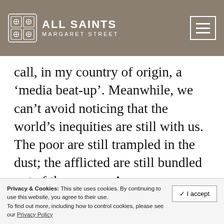ALL SAINTS MARGARET STREET
call, in my country of origin, a ‘media beat-up’. Meanwhile, we can’t avoid noticing that the world’s inequities are still with us. The poor are still trampled in the dust; the afflicted are still bundled out of the way, as Amos complained 27 centuries ago (2.7). The deaths in war we remember today have not ceased and our remembrance of them seems to have little impact on those who have the power to make
Privacy & Cookies: This site uses cookies. By continuing to use this website, you agree to their use. To find out more, including how to control cookies, please see our Privacy Policy